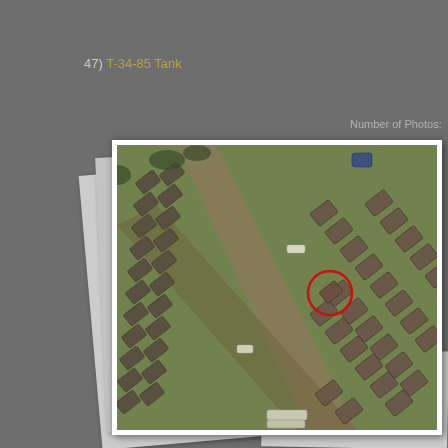47) T-34-85 Tank
Number of Photos:
[Figure (photo): Aerial/satellite photograph showing rows of military vehicles (tanks and armored vehicles) arranged in diagonal lines across a field. A red circle highlights one vehicle in the right-center area. The image appears to be an overhead reconnaissance or satellite photo of a vehicle storage or deployment area.]